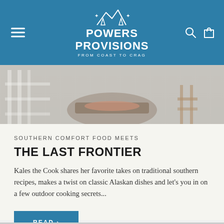Powers Provisions — From Coast to Crag
[Figure (photo): Person holding a wooden cutting board with salmon or fish fillet, standing on a porch with white railings and wooden furniture in background]
SOUTHERN COMFORT FOOD MEETS
THE LAST FRONTIER
Kales the Cook shares her favorite takes on traditional southern recipes, makes a twist on classic Alaskan dishes and let's you in on a few outdoor cooking secrets...
READ >